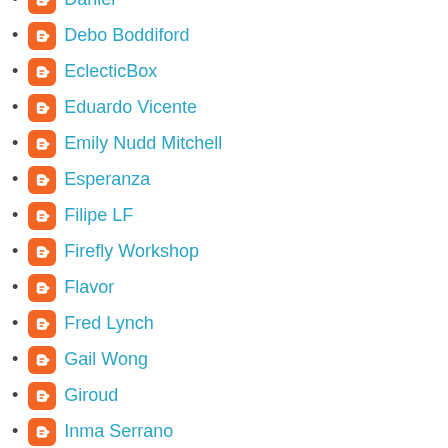Daniel
Debo Boddiford
EclecticBox
Eduardo Vicente
Emily Nudd Mitchell
Esperanza
Filipe LF
Firefly Workshop
Flavor
Fred Lynch
Gail Wong
Giroud
Inma Serrano
Isabell Seidel
Jason Das
Jesús Fernández